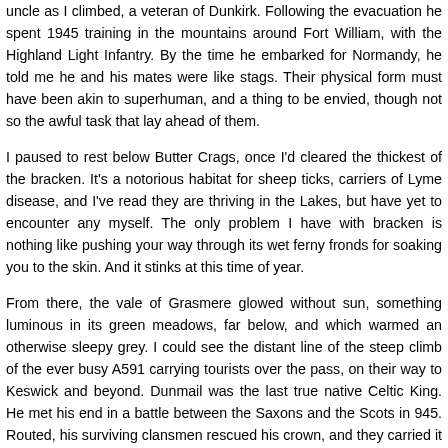uncle as I climbed, a veteran of Dunkirk. Following the evacuation he spent 1945 training in the mountains around Fort William, with the Highland Light Infantry. By the time he embarked for Normandy, he told me he and his mates were like stags. Their physical form must have been akin to superhuman, and a thing to be envied, though not so the awful task that lay ahead of them.
I paused to rest below Butter Crags, once I'd cleared the thickest of the bracken. It's a notorious habitat for sheep ticks, carriers of Lyme disease, and I've read they are thriving in the Lakes, but have yet to encounter any myself. The only problem I have with bracken is nothing like pushing your way through its wet ferny fronds for soaking you to the skin. And it stinks at this time of year.
From there, the vale of Grasmere glowed without sun, something luminous in its green meadows, far below, and which warmed an otherwise sleepy grey. I could see the distant line of the steep climb of the ever busy A591 carrying tourists over the pass, on their way to Keswick and beyond. Dunmail was the last true native Celtic King. He met his end in a battle between the Saxons and the Scots in 945. Routed, his surviving clansmen rescued his crown, and they carried it up the nick of Raise Beck and on to Grisedale tarn, where they hurled it into its cold dark waters for safe keeping.
King Dunmail rests in the huge pile of stones at the summit that bears his name, while above, there now flash thousands of careless cars every day. But once a year, it is said, his ghostly clansmen return with the crown and bang on the cairn, wakening their sleeping king below, and urging him to take up the crown once more. Each time he tells them the time has not yet come. Other more prosaic accounts have him dying on a pilgrimage in 975. I